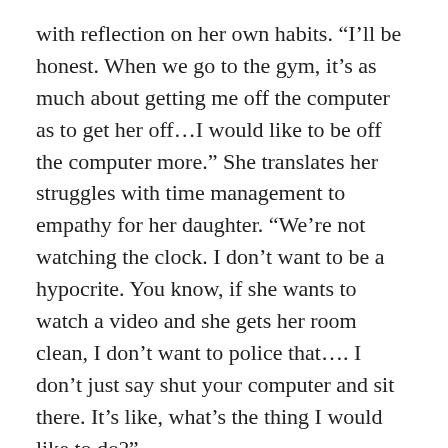with reflection on her own habits. “I’ll be honest. When we go to the gym, it’s as much about getting me off the computer as to get her off…I would like to be off the computer more.” She translates her struggles with time management to empathy for her daughter. “We’re not watching the clock. I don’t want to be a hypocrite. You know, if she wants to watch a video and she gets her room clean, I don’t want to police that…. I don’t just say shut your computer and sit there. It’s like, what’s the thing I would like to do?”
Routines Over Rules
Even tech-loving parents aren’t immune from guilt over distracted parenting. Steve Isaacs, a Minecraft educator, organizer of Minefaire, and gamer dad muses,